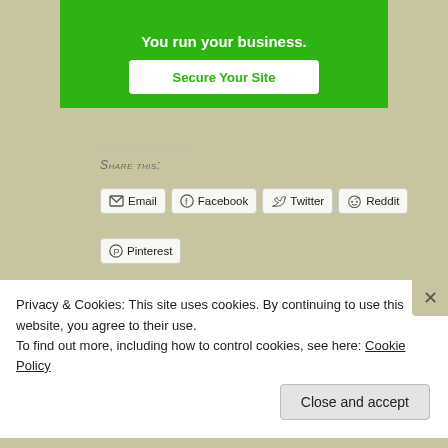[Figure (screenshot): Green advertisement banner with 'You run your business.' text and 'Secure Your Site' white button]
Share this:
[Figure (infographic): Social sharing buttons: Email, Facebook, Twitter, Reddit, Pinterest]
[Figure (infographic): Like button with star icon and row of blogger avatars]
24 bloggers like this.
Privacy & Cookies: This site uses cookies. By continuing to use this website, you agree to their use.
To find out more, including how to control cookies, see here: Cookie Policy
Close and accept